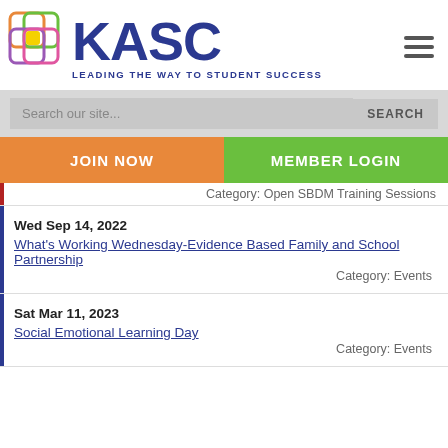[Figure (logo): KASC logo with colored overlapping rounded squares icon and text 'KASC - LEADING THE WAY TO STUDENT SUCCESS']
Search our site...
SEARCH
JOIN NOW
MEMBER LOGIN
Category: Open SBDM Training Sessions
Wed Sep 14, 2022 | What's Working Wednesday-Evidence Based Family and School Partnership | Category: Events
Sat Mar 11, 2023 | Social Emotional Learning Day | Category: Events